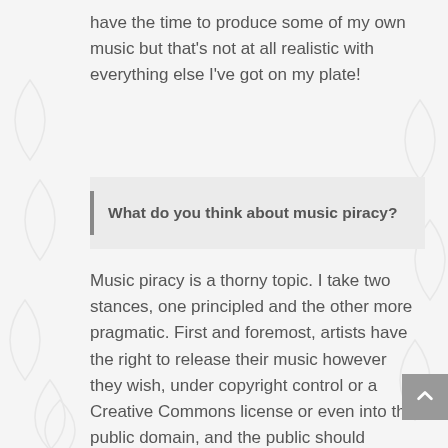have the time to produce some of my own music but that's not at all realistic with everything else I've got on my plate!
What do you think about music piracy?
Music piracy is a thorny topic. I take two stances, one principled and the other more pragmatic. First and foremost, artists have the right to release their music however they wish, under copyright control or a Creative Commons license or even into the public domain, and the public should respect this. But really, labels and artists should be more worried if their music isn't being pirated.